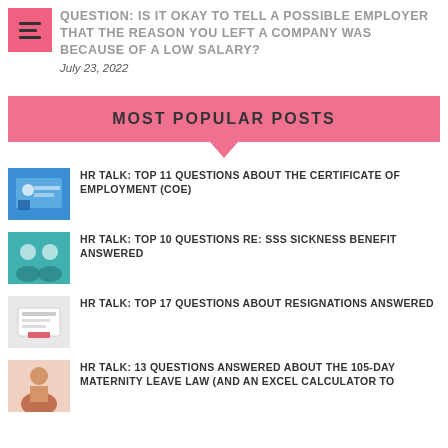QUESTION: IS IT OKAY TO TELL A POSSIBLE EMPLOYER THAT THE REASON YOU LEFT A COMPANY WAS BECAUSE OF A LOW SALARY?
July 23, 2022
MOST POPULAR POSTS
[Figure (photo): Thumbnail image for HR Talk: Top 11 Questions About the Certificate of Employment (COE)]
HR TALK: TOP 11 QUESTIONS ABOUT THE CERTIFICATE OF EMPLOYMENT (COE)
[Figure (photo): Thumbnail image for HR Talk: Top 10 Questions Re: SSS Sickness Benefit Answered]
HR TALK: TOP 10 QUESTIONS RE: SSS SICKNESS BENEFIT ANSWERED
[Figure (photo): Thumbnail image for HR Talk: Top 17 Questions About Resignations Answered]
HR TALK: TOP 17 QUESTIONS ABOUT RESIGNATIONS ANSWERED
[Figure (photo): Thumbnail image for HR Talk: 13 Questions Answered About the 105-Day Maternity Leave Law]
HR TALK: 13 QUESTIONS ANSWERED ABOUT THE 105-DAY MATERNITY LEAVE LAW (AND AN EXCEL CALCULATOR TO